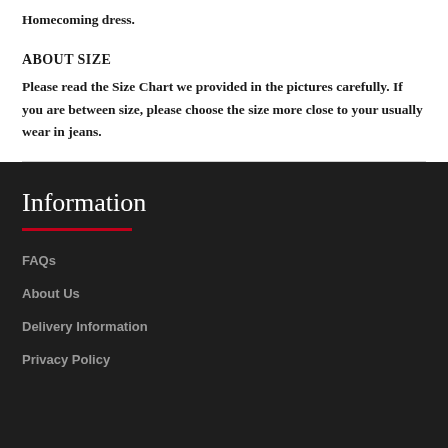Homecoming dress.
ABOUT SIZE
Please read the Size Chart we provided in the pictures carefully. If you are between size, please choose the size more close to your usually wear in jeans.
Information
FAQs
About Us
Delivery Information
Privacy Policy